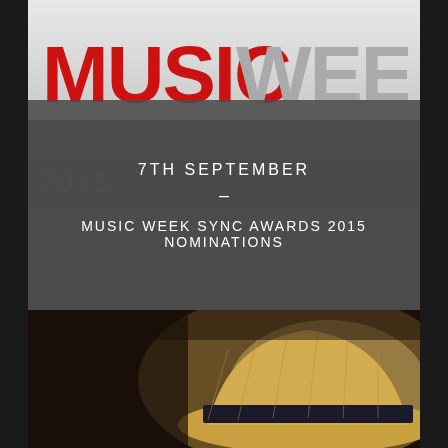[Figure (logo): Music Week Sync Awards 2015 logo banner with red MUSIC text and grey WEEK text]
7TH SEPTEMBER
–
MUSIC WEEK SYNC AWARDS 2015 NOMINATIONS
[Figure (photo): Close-up photo of a straw hat with dark band, dark warm-toned background]